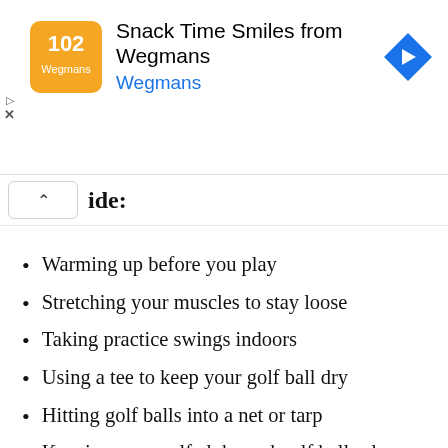[Figure (other): Advertisement banner for Snack Time Smiles from Wegmans with orange logo, text, and blue diamond arrow icon]
ide:
Warming up before you play
Stretching your muscles to stay loose
Taking practice swings indoors
Using a tee to keep your golf ball dry
Hitting golf balls into a net or tarp
Keeping your golf clubs and golf balls clean and dry
Changing your golf shoes if they get wet
Paying attention to the forecast and